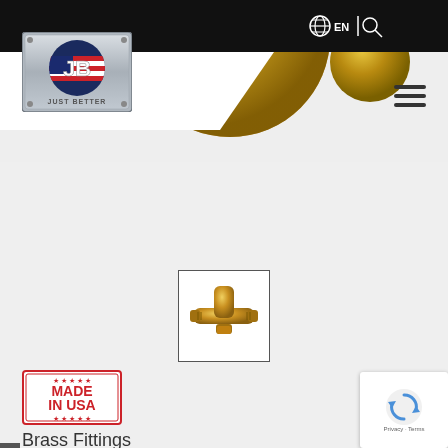[Figure (logo): JB Industries 'Just Better' logo on metallic background with US flag]
[Figure (photo): Partial view of large brass ball valve fittings at top of page]
[Figure (photo): Brass tee fitting product thumbnail in bordered box]
[Figure (logo): Made in USA badge with red border and stars]
Brass Fittings
[Figure (other): Google reCAPTCHA widget with Privacy and Terms links]